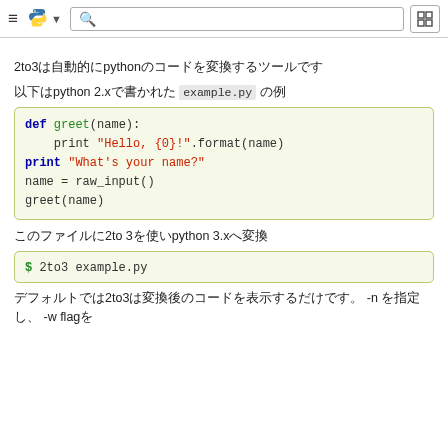Python documentation navigation header with search bar
2to3はPythonプログラムをpython 2から3に変換するツールです
以下はpython 2.xで書かれた example.py の例
[Figure (screenshot): Python 2 code block: def greet(name): print "Hello, {0}!".format(name) / print "What's your name?" / name = raw_input() / greet(name)]
このファイルに2to 3を使いpython 3.xへ変換
[Figure (screenshot): Command line: $ 2to3 example.py]
デフォルトでは2to3は変換後のコードを表示するだけです。 -n を指定し、 -w flagで